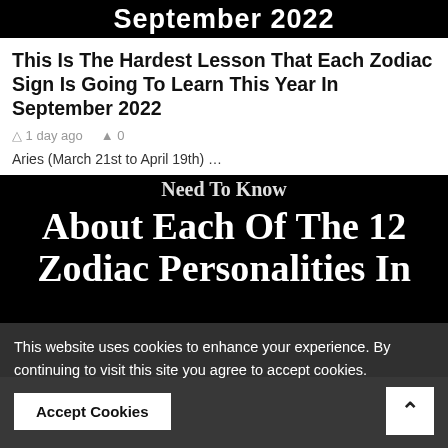[Figure (screenshot): Top black banner with partial text 'September 2022' in large white bold letters]
This Is The Hardest Lesson That Each Zodiac Sign Is Going To Learn This Year In September 2022
1 day ago   0
Aries (March 21st to April 19th) …
[Figure (screenshot): Black banner with large white serif text reading partial 'Need To Know About Each Of The 12 Zodiac Personalities In']
This website uses cookies to enhance your experience. By continuing to visit this site you agree to accept cookies.